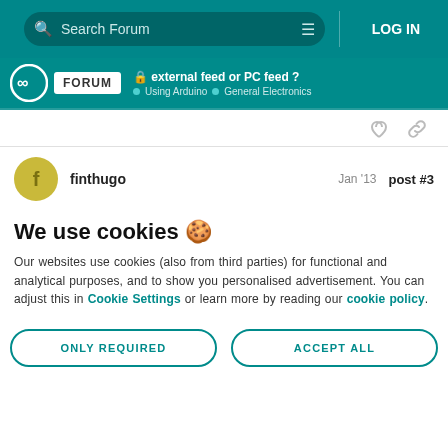Search Forum | LOG IN
FORUM | external feed or PC feed ? | Using Arduino > General Electronics
finthugo   Jan '13   post #3
We use cookies 🍪
Our websites use cookies (also from third parties) for functional and analytical purposes, and to show you personalised advertisement. You can adjust this in Cookie Settings or learn more by reading our cookie policy.
ONLY REQUIRED | ACCEPT ALL